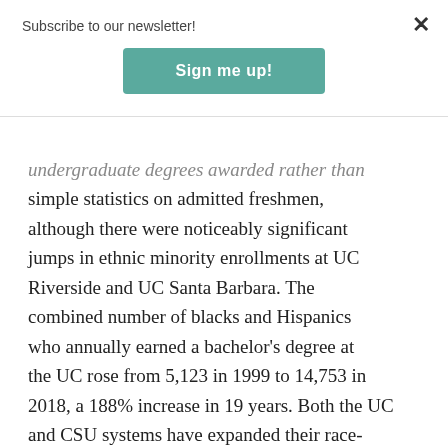Subscribe to our newsletter!
[Figure (other): Sign me up! button — teal/green rounded rectangle signup button for newsletter]
undergraduate degrees awarded rather than simple statistics on admitted freshmen, although there were noticeably significant jumps in ethnic minority enrollments at UC Riverside and UC Santa Barbara. The combined number of blacks and Hispanics who annually earned a bachelor's degree at the UC rose from 5,123 in 1999 to 14,753 in 2018, a 188% increase in 19 years. Both the UC and CSU systems have expanded their race-neutral outreach efforts to help prepare for